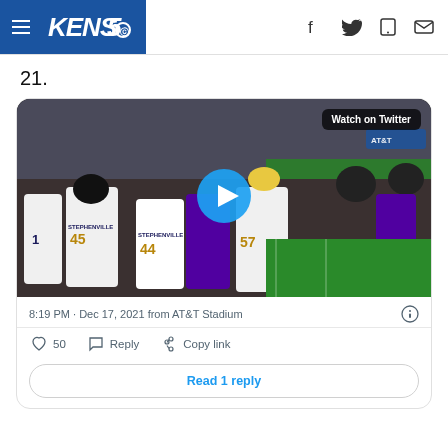KENS5 — navigation header with social icons
21.
[Figure (screenshot): Embedded tweet with video thumbnail showing football players from Stephenville team at AT&T Stadium. Video has a blue play button and 'Watch on Twitter' label.]
8:19 PM · Dec 17, 2021 from AT&T Stadium
50   Reply   Copy link
Read 1 reply